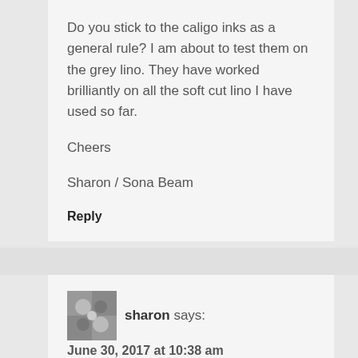Do you stick to the caligo inks as a general rule? I am about to test them on the grey lino. They have worked brilliantly on all the soft cut lino I have used so far.

Cheers

Sharon / Sona Beam
Reply
sharon says:
June 30, 2017 at 10:38 am
Hi again,

I found this in response to people questioning the cutting